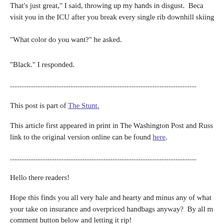"That's just great," I said, throwing up my hands in disgust.  Because I'll visit you in the ICU after you break every single rib downhill skiing
"What color do you want?" he asked.
"Black." I responded.
--------------------------------------------------------------------------------
This post is part of The Stunt.
This article first appeared in print in The Washington Post and Russ... link to the original version online can be found here.
--------------------------------------------------------------------------------
Hello there readers!
Hope this finds you all very hale and hearty and minus any of what... your take on insurance and overpriced handbags anyway?  By all m... comment button below and letting it rip!
Stay healthy, and while you're around, enjoy some other posts abou... of Russian medicine. Thanks for sticking around!